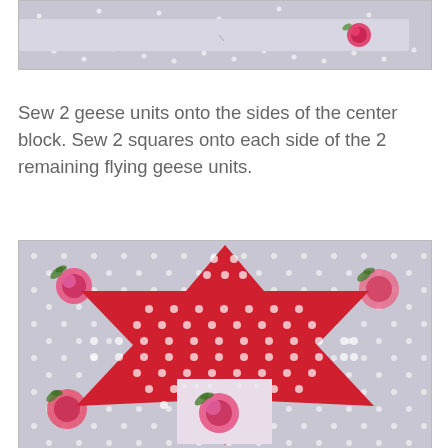[Figure (photo): Top portion of a fabric strip with floral (rose) pattern on a gray polka dot background, partially visible at the top of the page]
Sew 2 geese units onto the sides of the center block. Sew 2 squares onto each side of the 2 remaining flying geese units.
[Figure (photo): A completed quilt block showing a 8-pointed star pattern made with red polka dot fabric on a gray floral background with pink roses. The center of the star has a floral fabric square.]